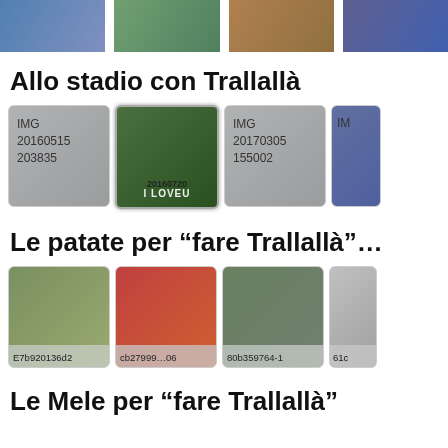[Figure (photo): Top strip of 4 thumbnail photos partially visible]
Allo stadio con Trallallà
[Figure (photo): Row of 4 image thumbnails: IMG 20160515 203835, photo of stadium banner 20160720, IMG 20170305 155002, and a partial thumbnail]
Le patate per “fare Trallallà”…
[Figure (photo): Row of 4 potato photo thumbnails labeled: E7b920136d2, cb27999 06, 80b359764-1, 61c (partial)]
Le Mele per “fare Trallallà”